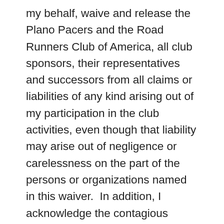my behalf, waive and release the Plano Pacers and the Road Runners Club of America, all club sponsors, their representatives and successors from all claims or liabilities of any kind arising out of my participation in the club activities, even though that liability may arise out of negligence or carelessness on the part of the persons or organizations named in this waiver.  In addition, I acknowledge the contagious nature of COVID-19 and other communicable diseases and voluntarily assume the risk that I may be exposed to or infected by COVID-19 and/or other communicable diseases by participating in any activities associate with the club. I acknowledge that such exposure or infection may result in personal injury, illness, permanent disability, and/or death. I understand that the risk of becoming exposed to or infected by COVID-19 in connection with my